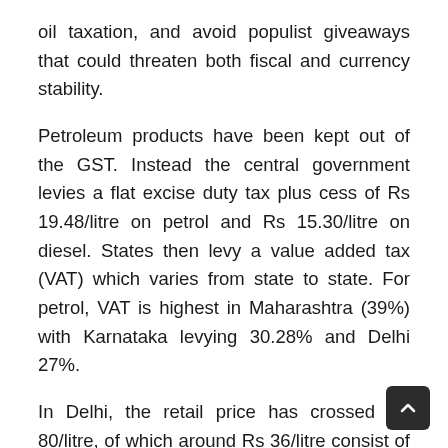oil taxation, and avoid populist giveaways that could threaten both fiscal and currency stability.
Petroleum products have been kept out of the GST. Instead the central government levies a flat excise duty tax plus cess of Rs 19.48/litre on petrol and Rs 15.30/litre on diesel. States then levy a value added tax (VAT) which varies from state to state. For petrol, VAT is highest in Maharashtra (39%) with Karnataka levying 30.28% and Delhi 27%.
In Delhi, the retail price has crossed Rs 80/litre, of which around Rs 36/litre consist of central and state taxes. The states get